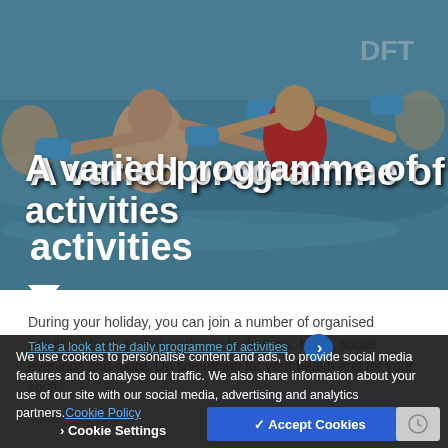[Figure (photo): Two adults doing aqua aerobics in a pool, holding blue foam dumbbells, smiling. Background shows other swimmers and a red/white indoor pool setting.]
A varied programme of activities
During your holiday, you can join a number of organised activities, from guided workouts to daytrips, hikes, social evenings and more. Do something for your health and for your soul!
Take a look at the daily programme of activities
We use cookies to personalise content and ads, to provide social media features and to analyse our traffic. We also share information about your use of our site with our social media, advertising and analytics partners. Cookie Policy
Cookie Settings
✓ Accept Cookies